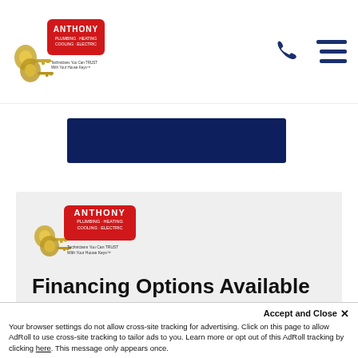Anthony Plumbing Heating Cooling Electric — navigation header with logo, phone icon, and hamburger menu
[Figure (illustration): Anthony logo with keys graphic and tagline: Technicians You Can TRUST With Your House Keys]
[Figure (illustration): Dark navy blue banner/bar below the navigation]
[Figure (logo): Anthony logo (large version) inside the gray content section]
Financing Options Available
At Anthony, we understand how important a functioning HVAC system is for your home. This is why we offer flexible financing options to help...
Accept and Close ×
Your browser settings do not allow cross-site tracking for advertising. Click on this page to allow AdRoll to use cross-site tracking to tailor ads to you. Learn more or opt out of this AdRoll tracking by clicking here. This message only appears once.